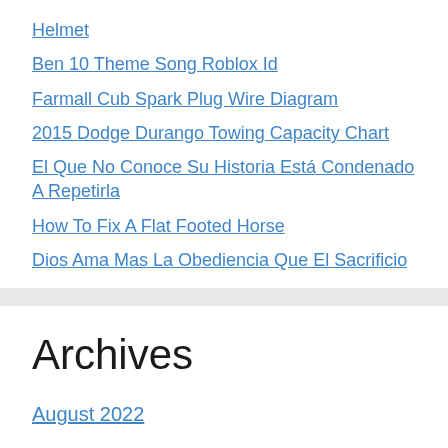Helmet
Ben 10 Theme Song Roblox Id
Farmall Cub Spark Plug Wire Diagram
2015 Dodge Durango Towing Capacity Chart
El Que No Conoce Su Historia Está Condenado A Repetirla
How To Fix A Flat Footed Horse
Dios Ama Mas La Obediencia Que El Sacrificio
Archives
August 2022